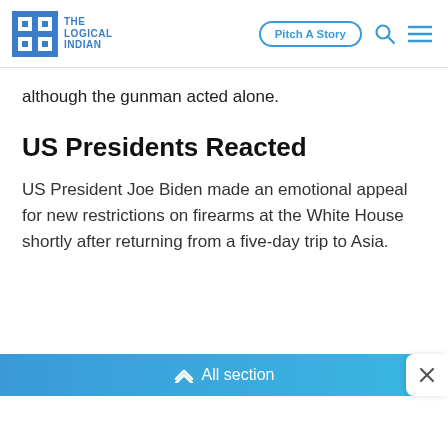THE LOGICAL INDIAN | Pitch A Story
although the gunman acted alone.
US Presidents Reacted
US President Joe Biden made an emotional appeal for new restrictions on firearms at the White House shortly after returning from a five-day trip to Asia.
All section